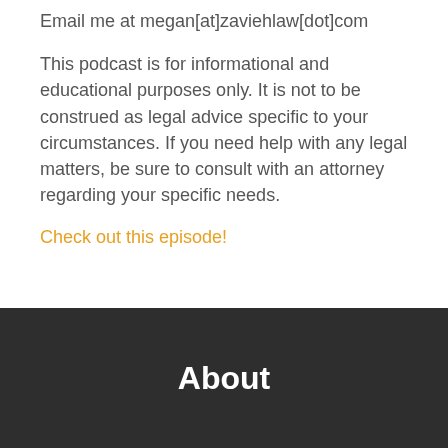Email me at megan[at]zaviehlaw[dot]com
This podcast is for informational and educational purposes only. It is not to be construed as legal advice specific to your circumstances. If you need help with any legal matters, be sure to consult with an attorney regarding your specific needs.
Check out this episode!
About